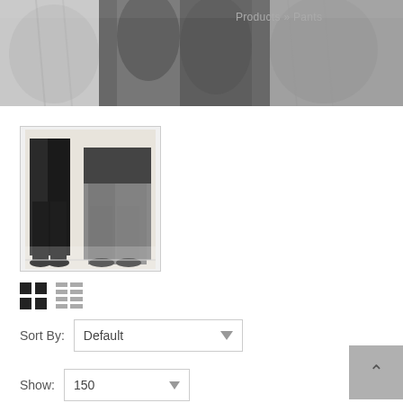[Figure (photo): Header banner showing people wearing pants/trousers in gray tones]
Products » Pants
[Figure (photo): Thumbnail image showing two people wearing dark and gray pants]
[Figure (other): Grid view icon (selected) and list view icon]
Sort By: Default ▼
Show: 150 ▼
Product Compare (0)
[Figure (photo): Bottom partial product image showing a dark waistband/belt area]
[Figure (other): Back to top button with upward arrow]